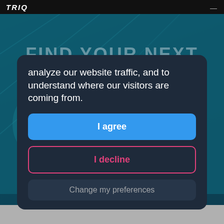TRIQ
[Figure (photo): Dark teal background with a person riding or working on a bicycle, partially visible behind a cookie consent modal overlay]
FIND YOUR NEXT
analyze our website traffic, and to understand where our visitors are coming from.
I agree
I decline
Change my preferences